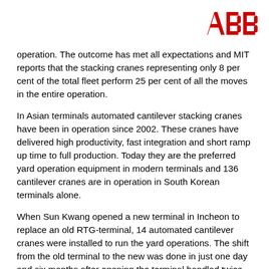[Figure (logo): ABB logo — red letters A, B, B in bold on white background]
operation. The outcome has met all expectations and MIT reports that the stacking cranes representing only 8 per cent of the total fleet perform 25 per cent of all the moves in the entire operation.
In Asian terminals automated cantilever stacking cranes have been in operation since 2002. These cranes have delivered high productivity, fast integration and short ramp up time to full production. Today they are the preferred yard operation equipment in modern terminals and 136 cantilever cranes are in operation in South Korean terminals alone.
When Sun Kwang opened a new terminal in Incheon to replace an old RTG-terminal, 14 automated cantilever cranes were installed to run the yard operations. The shift from the old terminal to the new was done in just one day and six months after opening the terminal handled twice as many containers as before. As a consequence of the successful first phase, Sun Kwang